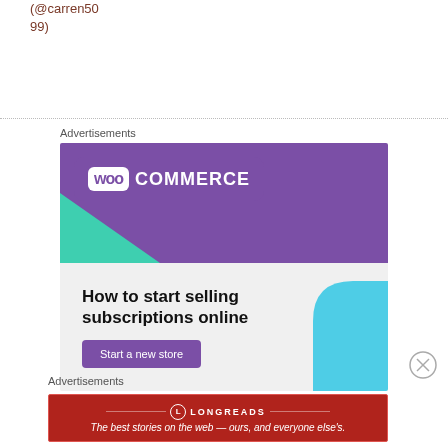(@carren5099)
Advertisements
[Figure (illustration): WooCommerce advertisement banner. Purple top section with WooCommerce logo (speech bubble icon with 'woo' and 'COMMERCE' text). Green triangle at lower left of purple area. Light gray lower section with text 'How to start selling subscriptions online' and a purple 'Start a new store' button. Blue curved shape at bottom right.]
REPORT THIS AD
Advertisements
[Figure (illustration): Longreads advertisement banner on dark red background with border. Longreads circle logo with 'L' icon and 'LONGREADS' text in caps. Tagline: 'The best stories on the web — ours, and everyone else's.']